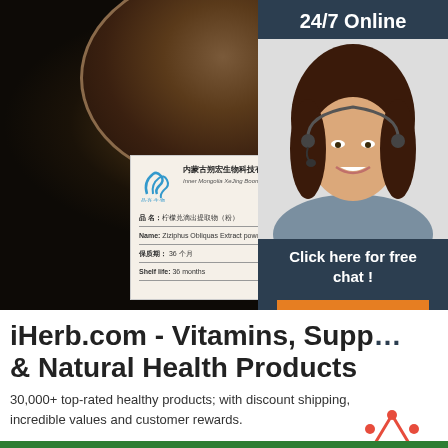[Figure (photo): Product photo showing dark powder in a bowl on black background, with a company label card. Label shows Chinese company name, 'Inner Mongolia XeJing Boone Company Limited', product name 'Ziziphus Jujubae Extract powder', shelf life 36 months.]
24/7 Online
[Figure (photo): Customer service representative woman with headset, smiling]
Click here for free chat !
QUOTATION
iHerb.com - Vitamins, Supplements & Natural Health Products
30,000+ top-rated healthy products; with discount shipping, incredible values and customer rewards.
Get Price